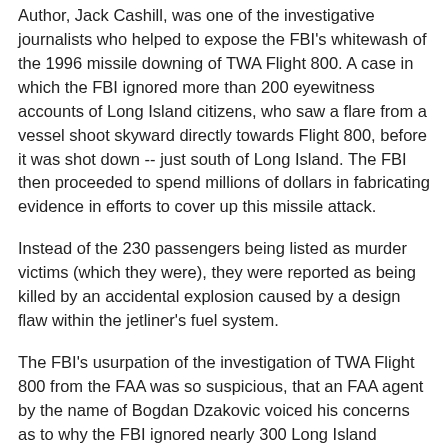Author, Jack Cashill, was one of the investigative journalists who helped to expose the FBI's whitewash of the 1996 missile downing of TWA Flight 800. A case in which the FBI ignored more than 200 eyewitness accounts of Long Island citizens, who saw a flare from a vessel shoot skyward directly towards Flight 800, before it was shot down -- just south of Long Island. The FBI then proceeded to spend millions of dollars in fabricating evidence in efforts to cover up this missile attack.
Instead of the 230 passengers being listed as murder victims (which they were), they were reported as being killed by an accidental explosion caused by a design flaw within the jetliner's fuel system.
The FBI's usurpation of the investigation of TWA Flight 800 from the FAA was so suspicious, that an FAA agent by the name of Bogdan Dzakovic voiced his concerns as to why the FBI ignored nearly 300 Long Island witnesses to the attack on TWA Flight 800; all of whom saw at least one flare launch from a boat and head straight for Flight 800 before it exploded. See Dzakovic's testimony here:
http://tinyurl.com/krnv42